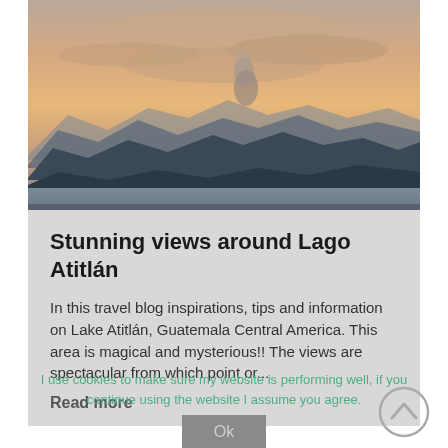[Figure (photo): Landscape photo of Lake Atitlán Guatemala at dusk/sunset with layered mountain silhouettes and dramatic orange-pink sky with clouds]
Stunning views around Lago Atitlán
In this travel blog inspirations, tips and information on Lake Atitlán, Guatemala Central America. This area is magical and mysterious!! The views are spectacular from which point or...
Read more
I use cookies to make sure my website is performing well, if you continue using the website I assume you agree.
Ok